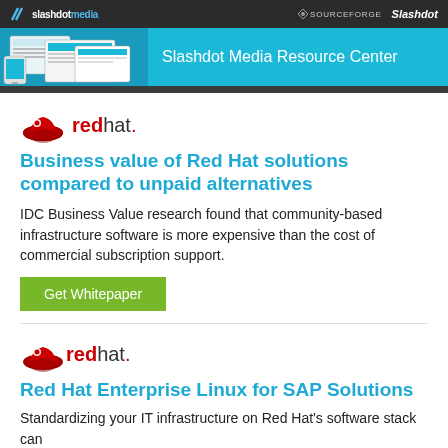[Figure (logo): Slashdot Media header bar with logo, SourceForge and Slashdot right logos, blue banner with screenshots and 'Slashdot Media Resource Center' text]
[Figure (logo): Red Hat logo - red hat icon with 'redhat.' text]
Business value of Red Hat solutions compared to unpaid alternatives
IDC Business Value research found that community-based infrastructure software is more expensive than the cost of commercial subscription support.
[Figure (other): Green 'Get Whitepaper' button]
[Figure (logo): Red Hat logo - red hat icon with 'redhat.' text]
Red Hat Enterprise Linux for SAP Solutions
Standardizing your IT infrastructure on Red Hat's software stack can